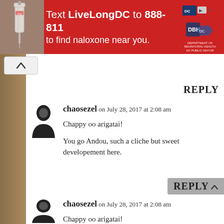[Figure (photo): Red advertisement banner: Text LiveLongDC to 888-811 to find naloxone near you, with syringe image on left and DC/DBH logos on right]
[Figure (illustration): Up arrow / collapse button]
REPLY
[Figure (illustration): User avatar silhouette (hourglass/person shape)]
chaosezel on July 28, 2017 at 2:08 am
Chappy oo arigatai!

You go Andou, such a cliche but sweet developement here.
REPLY
[Figure (illustration): User avatar silhouette (hourglass/person shape)]
chaosezel on July 28, 2017 at 2:08 am
Chappy oo arigatai!